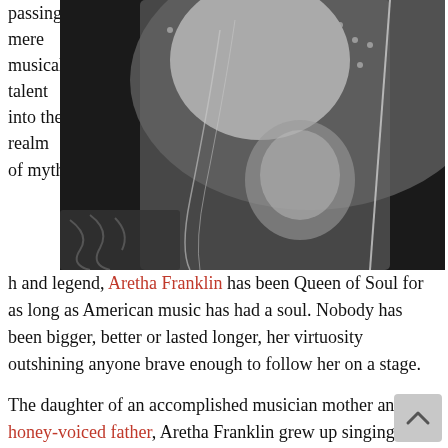passing mere musical talent into the realm of myth and legend,
[Figure (photo): Black and white close-up photograph of Aretha Franklin performing, wearing ornate costume with beaded/sequined details, holding a microphone]
Aretha Franklin has been Queen of Soul for as long as American music has had a soul. Nobody has been bigger, better or lasted longer, her virtuosity outshining anyone brave enough to follow her on a stage.
The daughter of an accomplished musician mother and honey-voiced father, Aretha Franklin grew up singing Gospel and playing